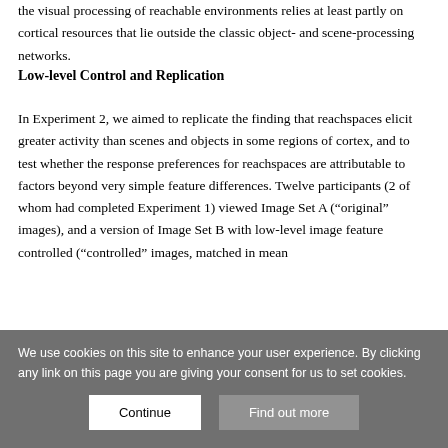the visual processing of reachable environments relies at least partly on cortical resources that lie outside the classic object- and scene-processing networks.
Low-level Control and Replication
In Experiment 2, we aimed to replicate the finding that reachspaces elicit greater activity than scenes and objects in some regions of cortex, and to test whether the response preferences for reachspaces are attributable to factors beyond very simple feature differences. Twelve participants (2 of whom had completed Experiment 1) viewed Image Set A (“original” images), and a version of Image Set B with low-level image feature controlled (“controlled” images, matched in mean
We use cookies on this site to enhance your user experience. By clicking any link on this page you are giving your consent for us to set cookies.